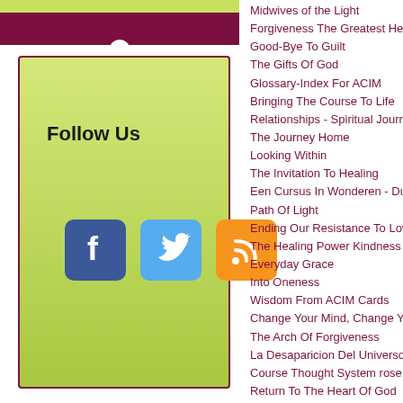[Figure (infographic): Follow Us box with green gradient background, dark purple/maroon top bar with notch, and social media icons for Facebook, Twitter, and RSS feed]
Midwives of the Light
Forgiveness The Greatest Healer
Good-Bye To Guilt
The Gifts Of God
Glossary-Index For ACIM
Bringing The Course To Life
Relationships - Spiritual Journey
The Journey Home
Looking Within
The Invitation To Healing
Een Cursus In Wonderen - Dutch ACI
Path Of Light
Ending Our Resistance To Love
The Healing Power Kindness Vol. 1
Everyday Grace
Into Oneness
Wisdom From ACIM Cards
Change Your Mind, Change Your Life
The Arch Of Forgiveness
La Desaparicion Del Universo
Course Thought System rose
Return To The Heart Of God